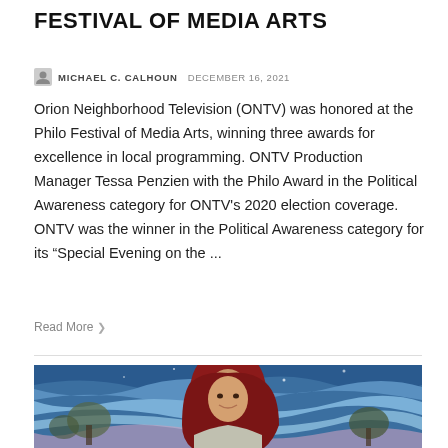FESTIVAL OF MEDIA ARTS
MICHAEL C. CALHOUN  DECEMBER 16, 2021
Orion Neighborhood Television (ONTV) was honored at the Philo Festival of Media Arts, winning three awards for excellence in local programming. ONTV Production Manager Tessa Penzien with the Philo Award in the Political Awareness category for ONTV's 2020 election coverage. ONTV was the winner in the Political Awareness category for its “Special Evening on the ...
Read More
[Figure (photo): Photo of a young woman wearing a dark red hijab, smiling, in front of a colorful painted mural with blue wavy patterns and tree silhouettes.]